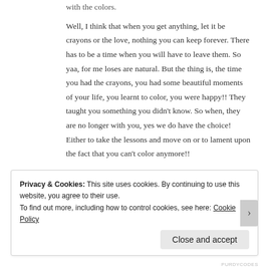with the colors.
Well, I think that when you get anything, let it be crayons or the love, nothing you can keep forever. There has to be a time when you will have to leave them. So yaa, for me loses are natural. But the thing is, the time you had the crayons, you had some beautiful moments of your life, you learnt to color, you were happy!! They taught you something you didn't know. So when, they are no longer with you, yes we do have the choice! Either to take the lessons and move on or to lament upon the fact that you can't color anymore!!
Liked by 5 people
Privacy & Cookies: This site uses cookies. By continuing to use this website, you agree to their use.
To find out more, including how to control cookies, see here: Cookie Policy